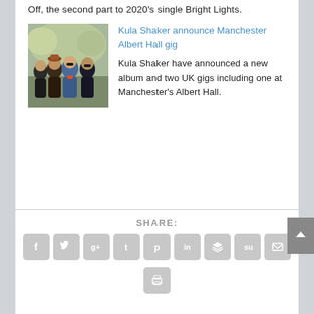Off, the second part to 2020's single Bright Lights.
[Figure (photo): Photo of the band Kula Shaker, four members seated outdoors]
Kula Shaker announce Manchester Albert Hall gig
Kula Shaker have announced a new album and two UK gigs including one at Manchester's Albert Hall.
SHARE:
[Figure (infographic): Social media share buttons: Facebook, Twitter, Google+, Tumblr, Pinterest, LinkedIn, Buffer, StumbleUpon, Email, Print]